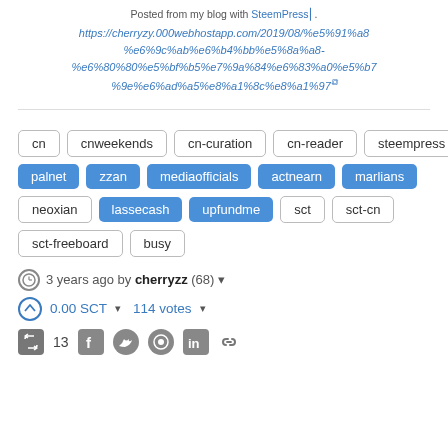Posted from my blog with SteemPress⬚:
https://cherryzy.000webhostapp.com/2019/08/%e5%91%a8%e6%9c%ab%e6%b4%bb%e5%8a%a8-%e6%80%80%e5%bf%b5%e7%9a%84%e6%83%a0%e5%b7%9e%e6%ad%a5%e8%a1%8c%e8%a1%97⬚
cn
cnweekends
cn-curation
cn-reader
steempress
palnet
zzan
mediaofficials
actnearn
marlians
neoxian
lassecash
upfundme
sct
sct-cn
sct-freeboard
busy
3 years ago by cherryzz (68) ▾
0.00 SCT ▾  114 votes ▾
13 [social share icons]